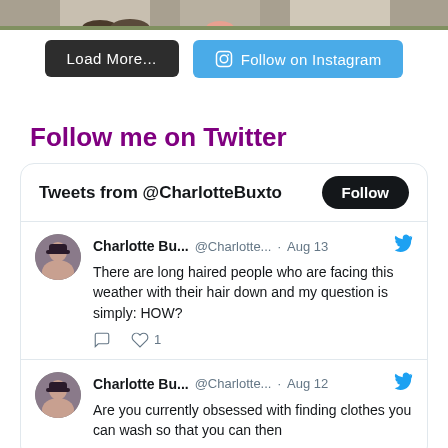[Figure (photo): Top partial photo showing feet/shoes on pavement]
Load More...
Follow on Instagram
Follow me on Twitter
Tweets from @CharlotteBuxto
Charlotte Bu... @Charlotte... · Aug 13
There are long haired people who are facing this weather with their hair down and my question is simply: HOW?
Charlotte Bu... @Charlotte... · Aug 12
Are you currently obsessed with finding clothes you can wash so that you can then